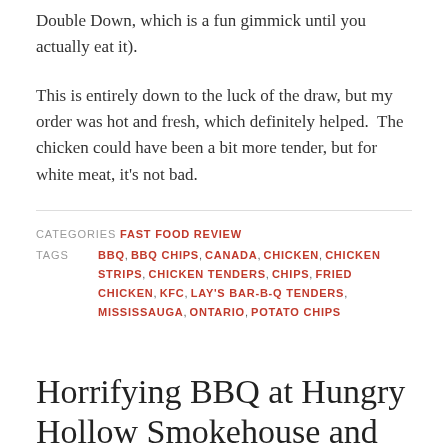Double Down, which is a fun gimmick until you actually eat it).
This is entirely down to the luck of the draw, but my order was hot and fresh, which definitely helped.  The chicken could have been a bit more tender, but for white meat, it's not bad.
CATEGORIES  FAST FOOD REVIEW
TAGS  BBQ, BBQ CHIPS, CANADA, CHICKEN, CHICKEN STRIPS, CHICKEN TENDERS, CHIPS, FRIED CHICKEN, KFC, LAY'S BAR-B-Q TENDERS, MISSISSAUGA, ONTARIO, POTATO CHIPS
Horrifying BBQ at Hungry Hollow Smokehouse and Grille